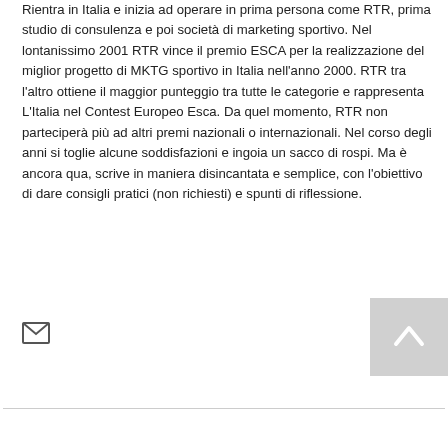Rientra in Italia e inizia ad operare in prima persona come RTR, prima studio di consulenza e poi società di marketing sportivo. Nel lontanissimo 2001 RTR vince il premio ESCA per la realizzazione del miglior progetto di MKTG sportivo in Italia nell'anno 2000. RTR tra l'altro ottiene il maggior punteggio tra tutte le categorie e rappresenta L'Italia nel Contest Europeo Esca. Da quel momento, RTR non parteciperà più ad altri premi nazionali o internazionali. Nel corso degli anni si toglie alcune soddisfazioni e ingoia un sacco di rospi. Ma è ancora qua, scrive in maniera disincantata e semplice, con l'obiettivo di dare consigli pratici (non richiesti) e spunti di riflessione.
[Figure (other): Email envelope icon]
[Figure (other): Back to top button with upward chevron arrow on grey background]